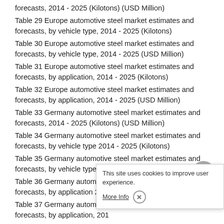forecasts, 2014 - 2025 (Kilotons) (USD Million)
Table 29 Europe automotive steel market estimates and forecasts, by vehicle type, 2014 - 2025 (Kilotons)
Table 30 Europe automotive steel market estimates and forecasts, by vehicle type, 2014 - 2025 (USD Million)
Table 31 Europe automotive steel market estimates and forecasts, by application, 2014 - 2025 (Kilotons)
Table 32 Europe automotive steel market estimates and forecasts, by application, 2014 - 2025 (USD Million)
Table 33 Germany automotive steel market estimates and forecasts, 2014 - 2025 (Kilotons) (USD Million)
Table 34 Germany automotive steel market estimates and forecasts, by vehicle type 2014 - 2025 (Kilotons)
Table 35 Germany automotive steel market estimates and forecasts, by vehicle type, 2014 - 2025 (USD Million)
Table 36 Germany automotive steel market estimates and forecasts, by application 2014 - ...
Table 37 Germany automotive steel market estimates and forecasts, by application, 2014 - 2025 (USD Million)